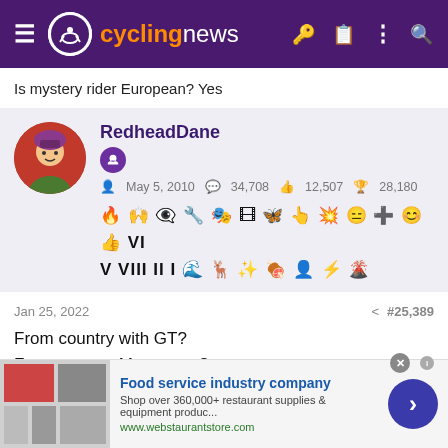cyclingnews
Is mystery rider European? Yes
RedheadDane
May 5, 2010   34,708   12,507   28,180
Jan 25, 2022   #25,389
From country with GT?
From country Monument?
Are/were there other rider(s) with similar given names?
Food service industry company
Shop over 360,000+ restaurant supplies & equipment produc...
www.webstaurantstore.com